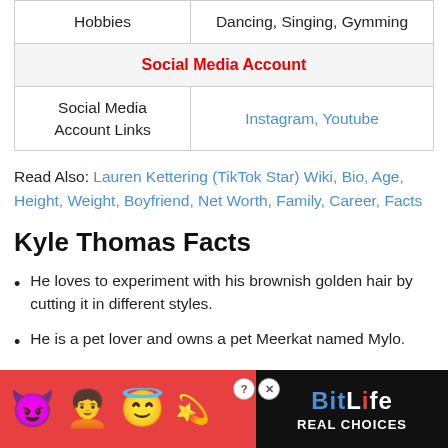| Hobbies | Dancing, Singing, Gymming |
| Social Media Account |  |
| Social Media Account Links | Instagram, Youtube |
Read Also: Lauren Kettering (TikTok Star) Wiki, Bio, Age, Height, Weight, Boyfriend, Net Worth, Family, Career, Facts
Kyle Thomas Facts
He loves to experiment with his brownish golden hair by cutting it in different styles.
He is a pet lover and owns a pet Meerkat named Mylo.
He ...
[Figure (other): BitLife advertisement banner with emojis (devil, woman, angel, sperm) on red background and black right panel with BitLife logo and REAL CHOICES text]